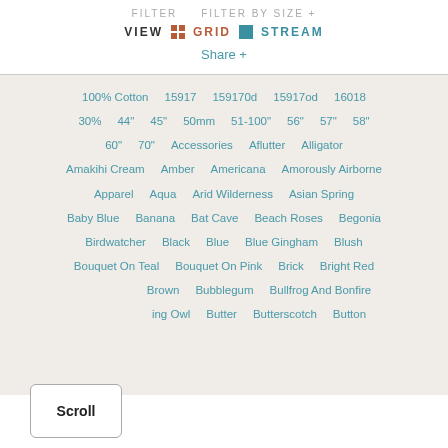FILTER   FILTER BY SIZE +
VIEW  GRID  STREAM
Share +
100% Cotton   15917   159170d   15917od   16018
30%   44"   45"   50mm   51-100"   56"   57"   58"
60"   70"   Accessories   Aflutter   Alligator
Amakihi Cream   Amber   Americana   Amorously Airborne
Apparel   Aqua   Arid Wilderness   Asian Spring
Baby Blue   Banana   Bat Cave   Beach Roses   Begonia
Birdwatcher   Black   Blue   Blue Gingham   Blush
Bouquet On Teal   Bouquet On Pink   Brick   Bright Red
Brown   Bubblegum   Bullfrog And Bonfire
ing Owl   Butter   Butterscotch   Button
Scroll